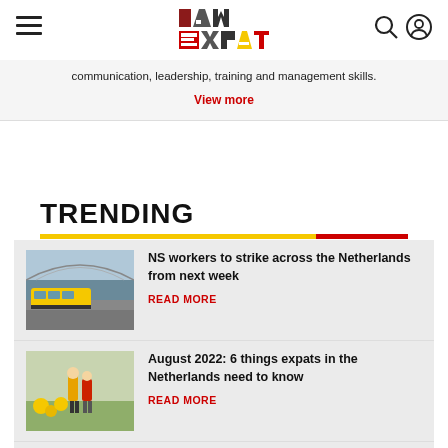I AM EXPAT
communication, leadership, training and management skills.
View more
TRENDING
NS workers to strike across the Netherlands from next week
READ MORE
August 2022: 6 things expats in the Netherlands need to know
READ MORE
Dutch travellers' association: